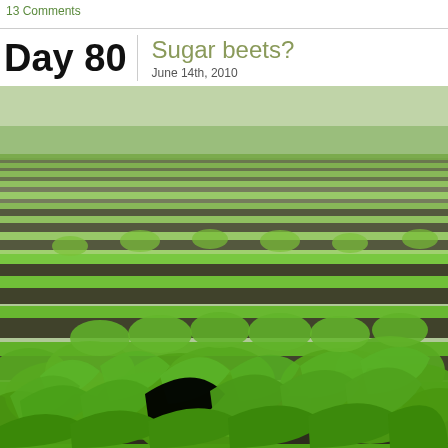13 Comments
Day 80 | Sugar beets? June 14th, 2010
[Figure (photo): Field of young sugar beet plants growing in rows, green leafy crops covering dark soil, photographed from a low angle showing rows receding into the distance.]